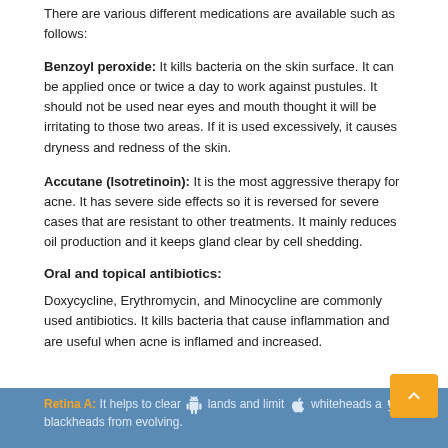There are various different medications are available such as follows:
Benzoyl peroxide: It kills bacteria on the skin surface. It can be applied once or twice a day to work against pustules. It should not be used near eyes and mouth thought it will be irritating to those two areas. If it is used excessively, it causes dryness and redness of the skin.
Accutane (Isotretinoin): It is the most aggressive therapy for acne. It has severe side effects so it is reversed for severe cases that are resistant to other treatments. It mainly reduces oil production and it keeps gland clear by cell shedding.
Oral and topical antibiotics:
Doxycycline, Erythromycin, and Minocycline are commonly used antibiotics. It kills bacteria that cause inflammation and are useful when acne is inflamed and increased.
Retina A: It helps to clear glands and limit whiteheads and blackheads from evolving.